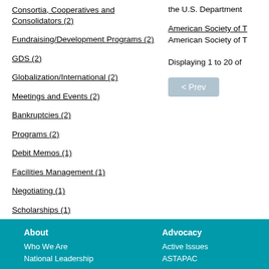Consortia, Cooperatives and Consolidators (2)
Fundraising/Development Programs (2)
GDS (2)
Globalization/International (2)
Meetings and Events (2)
Bankruptcies (2)
Programs (2)
Debit Memos (1)
Facilities Management (1)
Negotiating (1)
Scholarships (1)
the U.S. Department
American Society of T
American Society of T
Displaying 1 to 20 of
< Prev
About
Who We Are
National Leadership
Advocacy
Active Issues
ASTAPAC